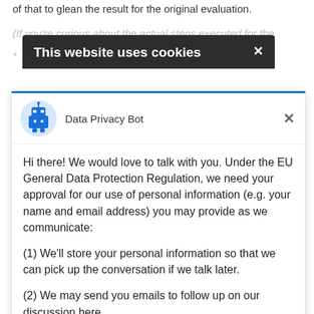of that to glean the result for the original evaluation.
(If you're curious about the actual steps executed for the
[Figure (screenshot): Cookie banner overlay with dark background titled 'This website uses cookies' with a close X button]
[Figure (screenshot): Data Privacy Bot chat widget with robot avatar, GDPR consent message, Yes/Accept and No Not Now buttons, and Drift branding]
Hi there! We would love to talk with you. Under the EU General Data Protection Regulation, we need your approval for our use of personal information (e.g. your name and email address) you may provide as we communicate:
(1) We'll store your personal information so that we can pick up the conversation if we talk later.
(2) We may send you emails to follow up on our discussion here.
Yes, I Accept
No, Not Now
Chat ⚡ by Drift